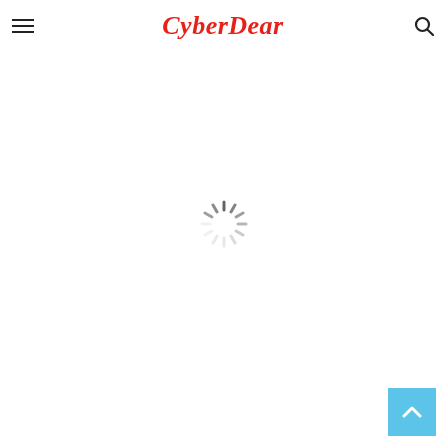CyberDear
[Figure (other): Loading spinner (radial dashes in a circular pattern indicating page loading)]
[Figure (other): Back to top button — light blue square with white upward chevron arrow in bottom-right corner]